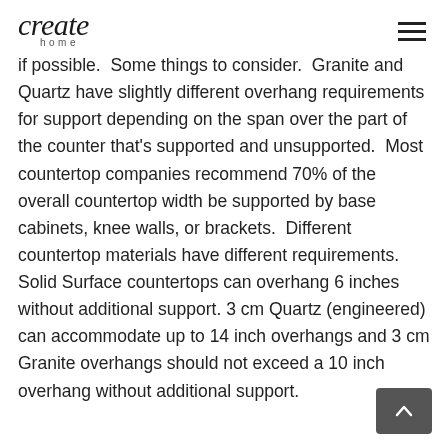create home
if possible.  Some things to consider.  Granite and Quartz have slightly different overhang requirements for support depending on the span over the part of the counter that's supported and unsupported.  Most countertop companies recommend 70% of the overall countertop width be supported by base cabinets, knee walls, or brackets.  Different countertop materials have different requirements. Solid Surface countertops can overhang 6 inches without additional support. 3 cm Quartz (engineered) can accommodate up to 14 inch overhangs and 3 cm Granite overhangs should not exceed a 10 inch overhang without additional support.